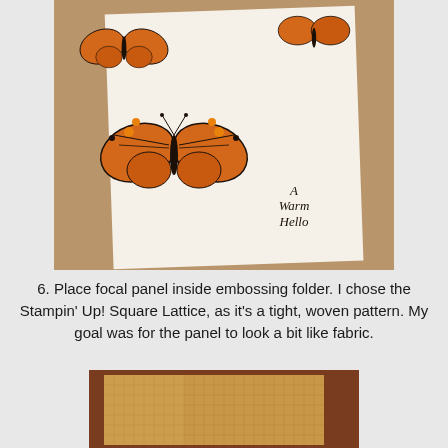[Figure (photo): Close-up photo of a handmade greeting card featuring orange and black butterflies stamped on white card stock, with the text 'A Warm Hello' written in the lower right corner. The card is shown against a tan/beige textured background.]
6. Place focal panel inside embossing folder.  I chose the Stampin' Up! Square Lattice, as it's a tight, woven pattern.  My goal was for the panel to look a bit like fabric.
[Figure (photo): Photo of a golden/tan colored paper panel placed inside an embossing folder, showing a square lattice woven pattern texture. The panel is set against a reddish-brown background.]